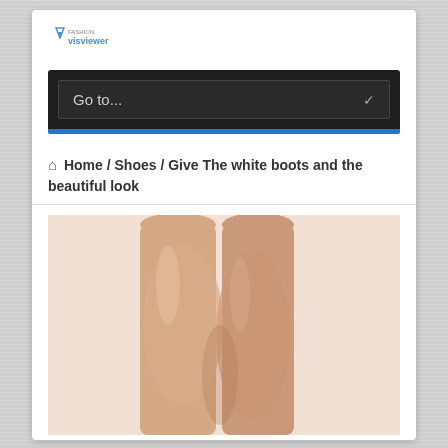Fashionvisviewer
Go to...
Home / Shoes / Give The white boots and the beautiful look
[Figure (photo): Close-up photo of a woman's bare legs against a light pink/cream background, showing legs from mid-thigh down.]